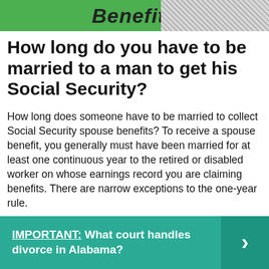[Figure (photo): Header banner with green background showing bold italic text 'Benefits' with a person visible on the right side with checkered/textured background.]
How long do you have to be married to a man to get his Social Security?
How long does someone have to be married to collect Social Security spouse benefits? To receive a spouse benefit, you generally must have been married for at least one continuous year to the retired or disabled worker on whose earnings record you are claiming benefits. There are narrow exceptions to the one-year rule.
IMPORTANT: What court handles divorce in Alabama?